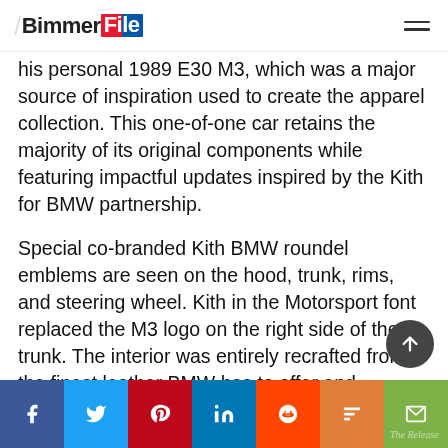BimmerFile
his personal 1989 E30 M3, which was a major source of inspiration used to create the apparel collection. This one-of-one car retains the majority of its original components while featuring impactful updates inspired by the Kith for BMW partnership.
Special co-branded Kith BMW roundel emblems are seen on the hood, trunk, rims, and steering wheel. Kith in the Motorsport font replaced the M3 logo on the right side of the trunk. The interior was entirely recrafted from the finest leather BMW has to offer and features an embossed Kith monogram pattern across the seats and door panels.
Social share bar: Facebook, Twitter, Pinterest, LinkedIn, Reddit, Mix, Email